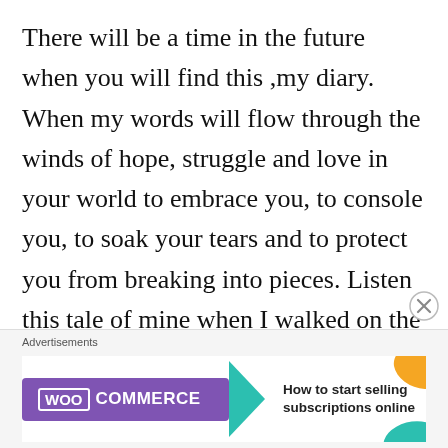There will be a time in the future when you will find this ,my diary. When my words will flow through the winds of hope, struggle and love in your world to embrace you, to console you, to soak your tears and to protect you from breaking into pieces. Listen this tale of mine when I walked on the path , full of thorns but I never complained about that and never gave up. There was a time when there was no hope
[Figure (other): WooCommerce advertisement banner with purple background, teal arrow, and text 'How to start selling subscriptions online']